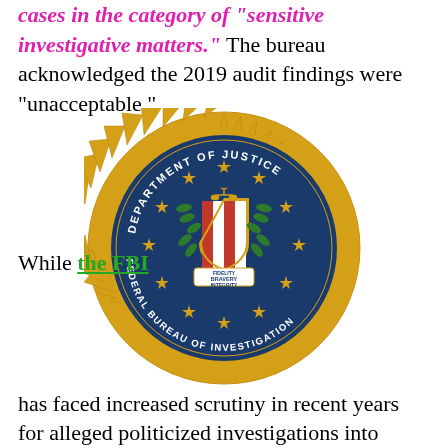cases in the category of 'sensitive investigative matters.' The bureau acknowledged the 2019 audit findings were "unacceptable."
[Figure (logo): FBI seal - Department of Justice, Federal Bureau of Investigation circular badge with gold star border, blue background, eagle shield with scales of justice, fidelity bravery integrity banner]
While the FBI has faced increased scrutiny in recent years for alleged politicized investigations into